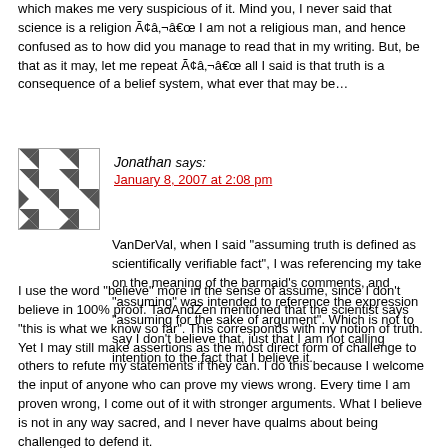which makes me very suspicious of it. Mind you, I never said that science is a religion Ã¢â‚¬â€œ I am not a religious man, and hence confused as to how did you manage to read that in my writing. But, be that as it may, let me repeat Ã¢â‚¬â€œ all I said is that truth is a consequence of a belief system, what ever that may be…
Jonathan says: January 8, 2007 at 2:08 pm
VanDerVal, when I said "assuming truth is defined as scientifically verifiable fact", I was referencing my take on the meaning of the barmaid's comments, and "assuming" was intended to reference the expression "assuming for the sake of argument". Which is not to say I don't believe that, just that I am not calling intention to the fact that I believe it.
I use the word "believe" more in the sense of assume, since I don't believe in 100% proof. TaoAndZen mentioned that the scientist says "this is what we know so far". This corresponds with my notion of truth. Yet I may still make assertions as the most direct form of challenge to others to refute my statements if they can. I do this because I welcome the input of anyone who can prove my views wrong. Every time I am proven wrong, I come out of it with stronger arguments. What I believe is not in any way sacred, and I never have qualms about being challenged to defend it.
I am afraid I may not have been very clear in my comment on the color blue. My example was intended to show that as long as the nature of the thing itself is mutually verifiable, it doesn't matter what common term we use to indicate it. You seem to suggest that I don't care about the nature of the thing itself, but nothing could be further from the truth. I just don't care what it's called, as long as we both know we are referring to the thing itself. For example, it doesn't matter to me if we use -1 to mean 1 as long as we both knowwe are referring to 1. But perhaps I've missed your point here owing to